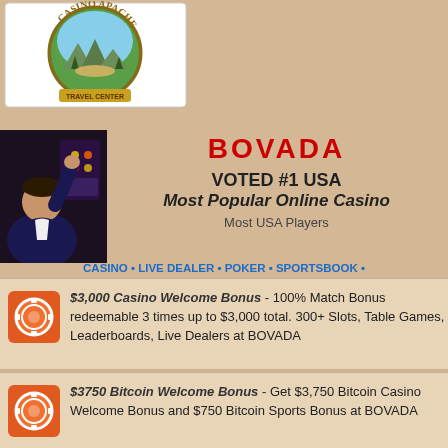[Figure (logo): Casino Apache Travel Center logo — circular emblem with mountain/forest scenery, text 'Casino Apache' and 'Travel Center' on ribbon banner]
[Figure (photo): Man in dark jacket raising fist in celebration in front of casino slot machines]
BOVADA
VOTED #1 USA
Most Popular Online Casino
Most USA Players
CASINO • LIVE DEALER • POKER • SPORTSBOOK • RACEBOOK
$3,000 Casino Welcome Bonus - 100% Match Bonus redeemable 3 times up to $3,000 total. 300+ Slots, Table Games, Leaderboards, Live Dealers at BOVADA
$3750 Bitcoin Welcome Bonus - Get $3,750 Bitcoin Casino Welcome Bonus and $750 Bitcoin Sports Bonus at BOVADA